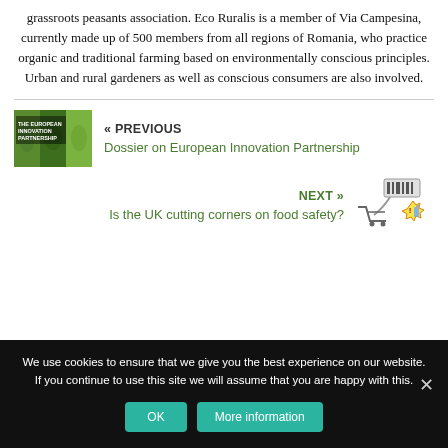grassroots peasants association. Eco Ruralis is a member of Via Campesina, currently made up of 500 members from all regions of Romania, who practice organic and traditional farming based on environmentally conscious principles. Urban and rural gardeners as well as conscious consumers are also involved.
[Figure (photo): Thumbnail image of 'The European Innovation Partnership' publication cover showing farming/agricultural imagery]
« PREVIOUS
Dossier on European Innovation Partnership
NEXT »
Is the UK cutting corners on food safety?
[Figure (illustration): Small illustration of a shopping cart with barcode scanner and warning symbol related to food safety]
We use cookies to ensure that we give you the best experience on our website. If you continue to use this site we will assume that you are happy with this.